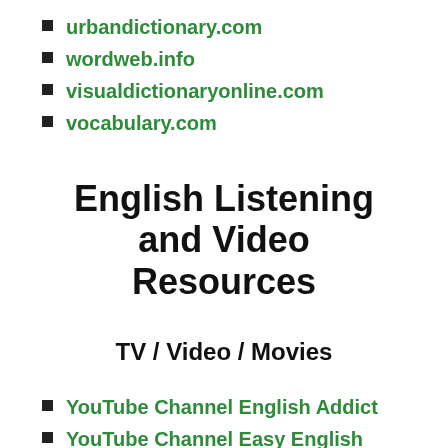urbandictionary.com
wordweb.info
visualdictionaryonline.com
vocabulary.com
English Listening and Video Resources
TV / Video / Movies
YouTube Channel English Addict
YouTube Channel Easy English
YouTube Channel BBC Learning English
YouTube Channel English 101
YouTube Channel Voa Learning English